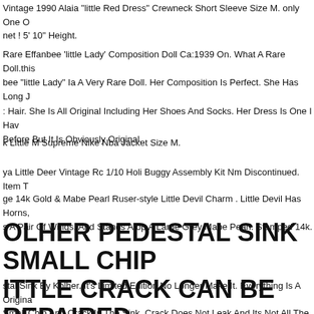Vintage 1990 Alaia "little Red Dress" Crewneck Short Sleeve Size M. only One On the net ! 5' 10" Height.
Rare Effanbee 'little Lady' Composition Doll Ca:1939 On. What A Rare Doll.this Effanbee "little Lady" Ia A Very Rare Doll. Her Composition Is Perfect. She Has Long J: Hair. She Is All Original Including Her Shoes And Socks. Her Dress Is One I Have Before But It Is Obviously Original.
k Little M Supreme Nike Nba Jacket Size M.
ya Little Deer Vintage Rc 1/10 Holi Buggy Assembly Kit Nm Discontinued. Item T
ge 14k Gold & Mabe Pearl Ruser-style Little Devil Charm . Little Devil Has Horns, s A Pair Of Wings, And Stands Atop A Large Grey Mabe Pearl. Stamped 14k.
OLHER PEDESTAL SINK SMALL CHIP ITTLE CRACK CAN BE REPAIRED.
stal Sink By Kolher. It's Limited Edition No Longer Make It. Everything Is A Original Small Chip And Crack In The Sink. Crack Does Not Leak And Its Not All The Way ugh. Faucets And Drain Do Work.